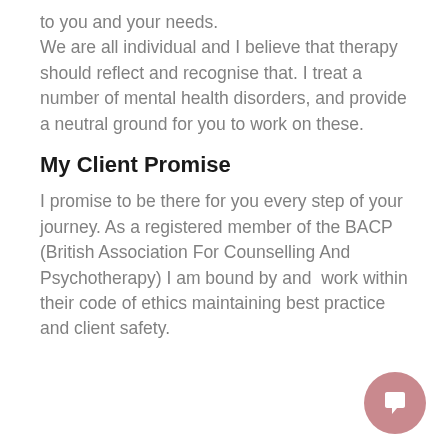to you and your needs. We are all individual and I believe that therapy should reflect and recognise that. I treat a number of mental health disorders, and provide a neutral ground for you to work on these.
My Client Promise
I promise to be there for you every step of your journey. As a registered member of the BACP (British Association For Counselling And Psychotherapy) I am bound by and  work within their code of ethics maintaining best practice and client safety.
[Figure (illustration): Pink/mauve circular chat button icon with a speech bubble symbol, positioned in the bottom right corner of the page.]